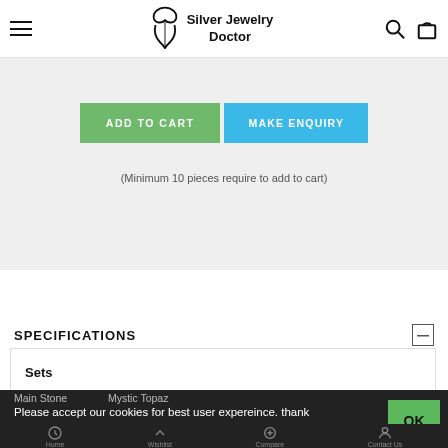Silver Jewelry Doctor
ADD TO CART   MAKE ENQUIRY
(Minimum 10 pieces require to add to cart)
SPECIFICATIONS
Sets
Main Stone   Mystic Topaz
Please accept our cookies for best user expereince. thank you!